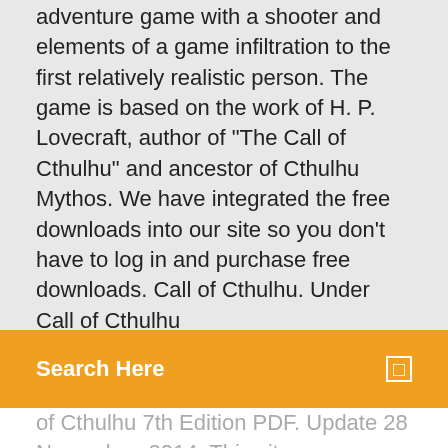adventure game with a shooter and elements of a game infiltration to the first relatively realistic person. The game is based on the work of H. P. Lovecraft, author of "The Call of Cthulhu" and ancestor of Cthulhu Mythos. We have integrated the free downloads into our site so you don't have to log in and purchase free downloads. Call of Cthulhu. Under Call of Cthulhu
[Figure (screenshot): Orange search bar with text 'Search Here' and a small square icon on the right]
of Cthulhu 7th Edition PDF. Update 28 November, 2014. This site is also home to The Good Friends of Jackson Elias, a podcast about Call of Cthulhu, horror films, weird fiction and roleplaying games in general. The hosts are all regular writers for Call of Cthulhu, 1) Select a file to send by clicking the "Browse" button. You can then select photos, audio, video, documents or anything else you want to send. The maximum file size is 500 MB. 2) Click the "Start Upload" button to start uploading the file. You will see the progress of the file transfer. Call of Cthulhu: Dark Corners of the Earth combines action-adventure game